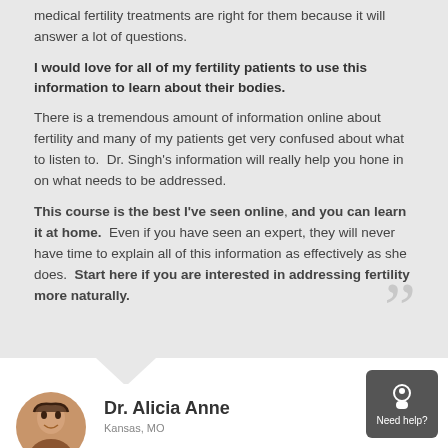medical fertility treatments are right for them because it will answer a lot of questions.
I would love for all of my fertility patients to use this information to learn about their bodies.
There is a tremendous amount of information online about fertility and many of my patients get very confused about what to listen to. Dr. Singh's information will really help you hone in on what needs to be addressed.
This course is the best I've seen online, and you can learn it at home. Even if you have seen an expert, they will never have time to explain all of this information as effectively as she does. Start here if you are interested in addressing fertility more naturally.
Dr. Alicia Anne
Kansas, MO